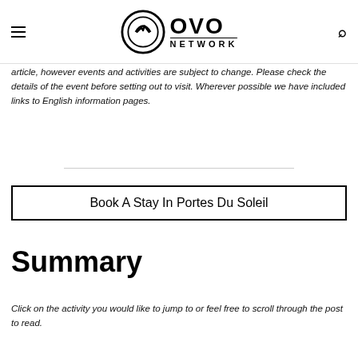OVO NETWORK
article, however events and activities are subject to change. Please check the details of the event before setting out to visit. Wherever possible we have included links to English information pages.
Book A Stay In Portes Du Soleil
Summary
Click on the activity you would like to jump to or feel free to scroll through the post to read.